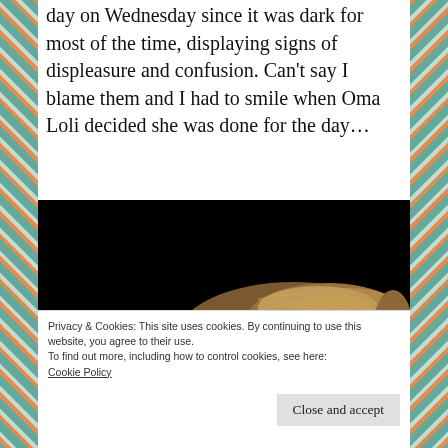day on Wednesday since it was dark for most of the time, displaying signs of displeasure and confusion. Can't say I blame them and I had to smile when Oma Loli decided she was done for the day...
[Figure (photo): A cat curled up and sleeping against a black background, warm brown/golden fur visible, photographed in low light]
Privacy & Cookies: This site uses cookies. By continuing to use this website, you agree to their use.
To find out more, including how to control cookies, see here: Cookie Policy
Close and accept